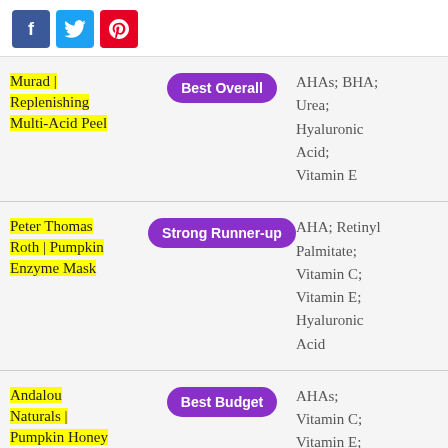Social share icons: Facebook, Twitter, Pinterest
| Product | Award | Key Ingredients |
| --- | --- | --- |
| Murad | Replenishing Multi-Acid Peel | Best Overall | AHAs; BHA; Urea; Hyaluronic Acid; Vitamin E |
| Peter Thomas Roth | Pumpkin Enzyme Mask | Strong Runner-up | AHA; Retinyl Palmitate; Vitamin C; Vitamin E; Hyaluronic Acid |
| Andalou Naturals | Pumpkin Honey... | Best Budget | AHAs; Vitamin C; Vitamin E;... |